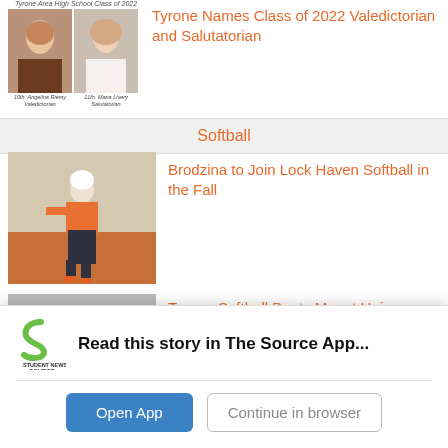[Figure (photo): Two student portrait photos — Valedictorian and Salutatorian of Tyrone High School Class of 2022, with script caption above and name labels below each photo]
Tyrone Names Class of 2022 Valedictorian and Salutatorian
Softball
[Figure (photo): Softball player in orange and black uniform running on base path during a game]
Brodzina to Join Lock Haven Softball in the Fall
[Figure (photo): Partial image of softball game, partially cut off at bottom of page]
Tyrone Softball Beats Mount Union
Read this story in The Source App...
Open App  Continue in browser